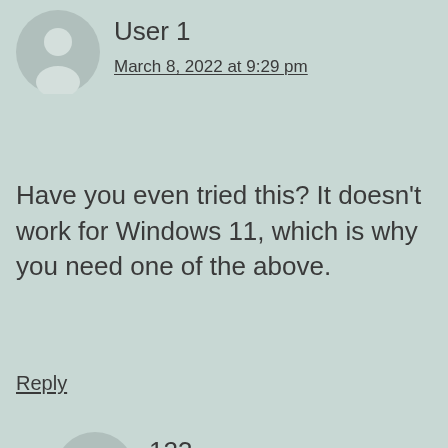User 1
March 8, 2022 at 9:29 pm
Have you even tried this? It doesn't work for Windows 11, which is why you need one of the above.
Reply
123
March 29, 2022 at 11:40 pm
Genius, Windows require bootloader